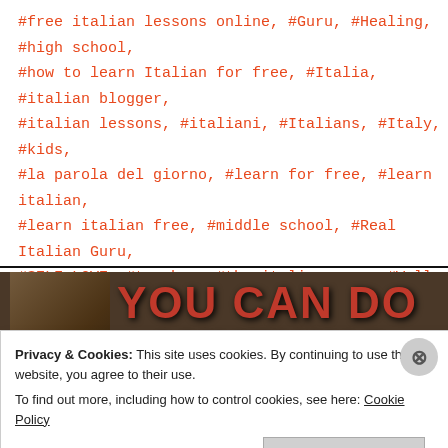#free italian lessons online, #Guru, #Healing, #high school, #how to learn Italian for free, #Italia, #italian blogger, #italian lessons, #italiani, #Italians, #Italy, #kids, #la parola del giorno, #learn for free, #learn italian, #learn italian free, #middle school, #Real Italian Guru, #SELF LOVE, #teacher, #the italian guru, #Wall, #word of the day
[Figure (photo): Photo with stacked books on left and bold red motivational text 'YOU CAN DO ANYTHING' on dark background]
Privacy & Cookies: This site uses cookies. By continuing to use this website, you agree to their use.
To find out more, including how to control cookies, see here: Cookie Policy
Close and accept